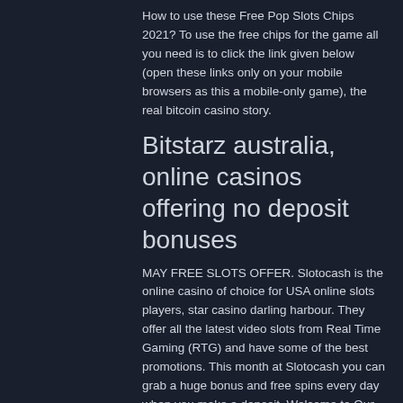How to use these Free Pop Slots Chips 2021? To use the free chips for the game all you need is to click the link given below (open these links only on your mobile browsers as this a mobile-only game), the real bitcoin casino story.
Bitstarz australia, online casinos offering no deposit bonuses
MAY FREE SLOTS OFFER. Slotocash is the online casino of choice for USA online slots players, star casino darling harbour. They offer all the latest video slots from Real Time Gaming (RTG) and have some of the best promotions. This month at Slotocash you can grab a huge bonus and free spins every day when you make a deposit. Welcome to Our Online Casino, star casino darling harbour. Enjoy exclusive daily bonus, quest rewards